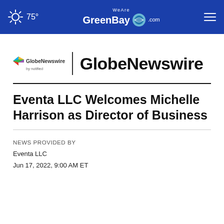75° WeAreGreenBay.com
[Figure (logo): GlobeNewswire by Notified logo with colorful arrow icon, vertical divider, and bold GlobeNewswire text]
Eventa LLC Welcomes Michelle Harrison as Director of Business
NEWS PROVIDED BY
Eventa LLC
Jun 17, 2022, 9:00 AM ET